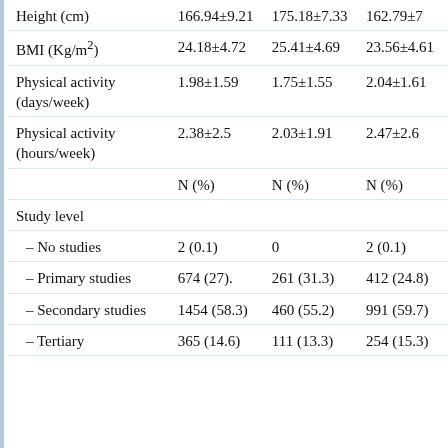|  | Total | Males | Females |
| --- | --- | --- | --- |
| Height (cm) | 166.94±9.21 | 175.18±7.33 | 162.79±7 |
| BMI (Kg/m²) | 24.18±4.72 | 25.41±4.69 | 23.56±4.61 |
| Physical activity (days/week) | 1.98±1.59 | 1.75±1.55 | 2.04±1.61 |
| Physical activity (hours/week) | 2.38±2.5 | 2.03±1.91 | 2.47±2.6 |
|  | N (%) | N (%) | N (%) |
| Study level |  |  |  |
| – No studies | 2 (0.1) | 0 | 2 (0.1) |
| – Primary studies | 674 (27). | 261 (31.3) | 412 (24.8) |
| – Secondary studies | 1454 (58.3) | 460 (55.2) | 991 (59.7) |
| – Tertiary | 365 (14.6) | 111 (13.3) | 254 (15.3) |